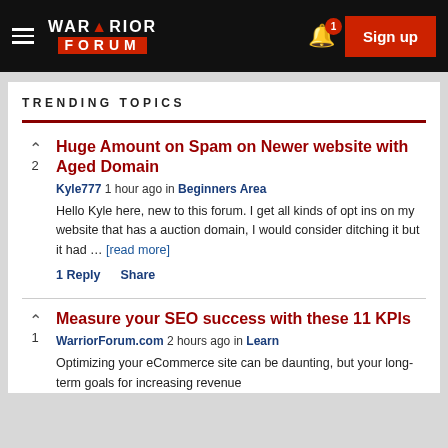WARRIOR FORUM — Sign up
TRENDING TOPICS
Huge Amount on Spam on Newer website with Aged Domain — Kyle777 1 hour ago in Beginners Area — Hello Kyle here, new to this forum. I get all kinds of opt ins on my website that has a auction domain, I would consider ditching it but it had … [read more] — 1 Reply  Share
Measure your SEO success with these 11 KPIs — WarriorForum.com 2 hours ago in Learn — Optimizing your eCommerce site can be daunting, but your long-term goals for increasing revenue